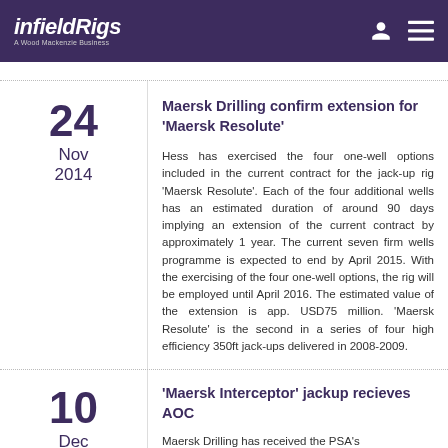infieldRigs — A Wood Mackenzie Business
Maersk Drilling confirm extension for 'Maersk Resolute'
Hess has exercised the four one-well options included in the current contract for the jack-up rig 'Maersk Resolute'. Each of the four additional wells has an estimated duration of around 90 days implying an extension of the current contract by approximately 1 year. The current seven firm wells programme is expected to end by April 2015. With the exercising of the four one-well options, the rig will be employed until April 2016. The estimated value of the extension is app. USD75 million. 'Maersk Resolute' is the second in a series of four high efficiency 350ft jack-ups delivered in 2008-2009.
'Maersk Interceptor' jackup recieves AOC
Maersk Drilling has received the PSA's